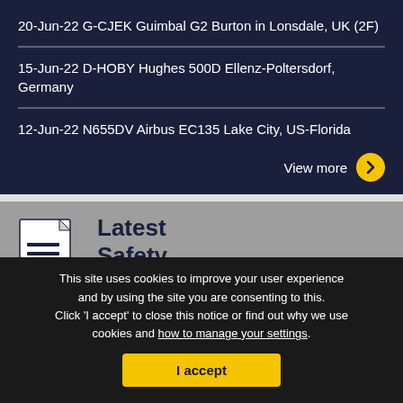20-Jun-22 G-CJEK Guimbal G2 Burton in Lonsdale, UK (2F)
15-Jun-22 D-HOBY Hughes 500D Ellenz-Poltersdorf, Germany
12-Jun-22 N655DV Airbus EC135 Lake City, US-Florida
View more
[Figure (illustration): Document/report icon showing a white page with lines and a folded corner]
Latest Safety
This site uses cookies to improve your user experience and by using the site you are consenting to this. Click 'I accept' to close this notice or find out why we use cookies and how to manage your settings.
I accept